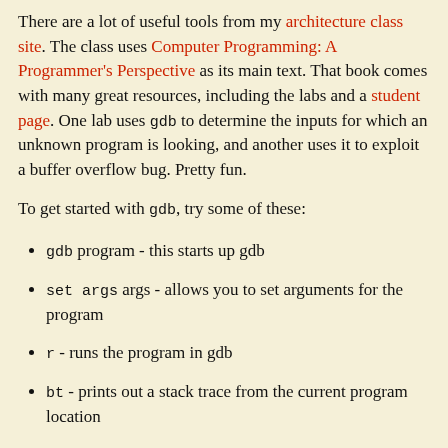There are a lot of useful tools from my architecture class site. The class uses Computer Programming: A Programmer's Perspective as its main text. That book comes with many great resources, including the labs and a student page. One lab uses gdb to determine the inputs for which an unknown program is looking, and another uses it to exploit a buffer overflow bug. Pretty fun.
To get started with gdb, try some of these:
gdb program - this starts up gdb
set args args - allows you to set arguments for the program
r - runs the program in gdb
bt - prints out a stack trace from the current program location
print variable - print out the contents of a given variable or memory location
up # - move up the call stack